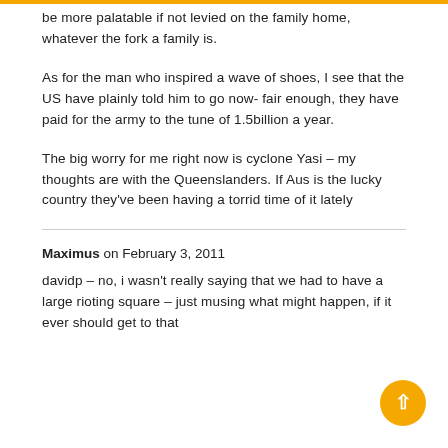be more palatable if not levied on the family home, whatever the fork a family is.
As for the man who inspired a wave of shoes, I see that the US have plainly told him to go now- fair enough, they have paid for the army to the tune of 1.5billion a year.
The big worry for me right now is cyclone Yasi – my thoughts are with the Queenslanders. If Aus is the lucky country they've been having a torrid time of it lately
Maximus on February 3, 2011
davidp – no, i wasn't really saying that we had to have a large rioting square – just musing what might happen, if it ever should get to that